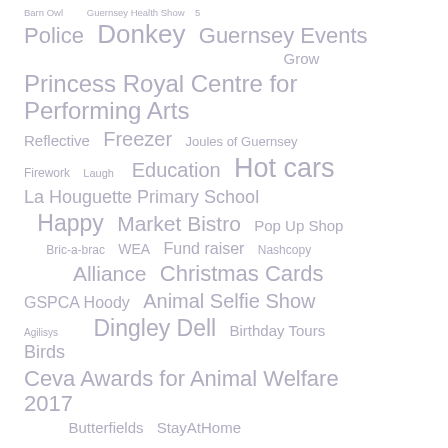Barn Owl   Guernsey Health Show   5
Police  Donkey  Guernsey Events
Grow
Princess Royal Centre for Performing Arts
Reflective  Freezer  Joules of Guernsey
Firework  Laugh  Education  Hot cars
La Houguette Primary School
Happy  Market Bistro  Pop Up Shop
Bric-a-brac  WEA  Fund raiser  Nashcopy
Alliance  Christmas Cards
GSPCA Hoody  Animal Selfie Show
Agilisys  Dingley Dell  Birthday Tours
Birds
Ceva Awards for Animal Welfare 2017
Butterfields  StayAtHome